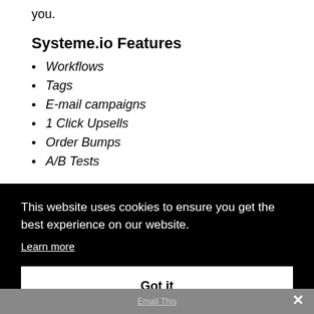you.
Systeme.io Features
Workflows
Tags
E-mail campaigns
1 Click Upsells
Order Bumps
A/B Tests
This website uses cookies to ensure you get the best experience on our website.
Learn more
Got it